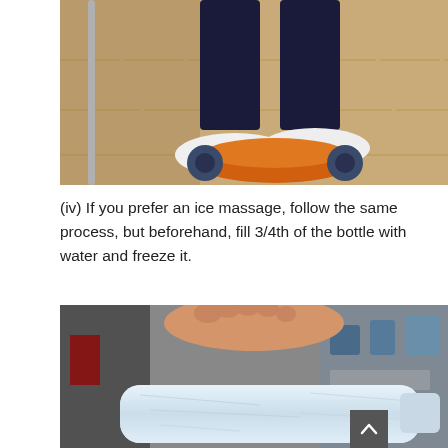[Figure (photo): A person's feet in white socks rolling over an orange and grey foot massage roller on a wooden floor, with a metal chair leg visible on the left.]
(iv) If you prefer an ice massage, follow the same process, but beforehand, fill 3/4th of the bottle with water and freeze it.
[Figure (photo): A bare foot pressing down on a large frozen water bottle (filled with ice), shown in a gym or sports store setting.]